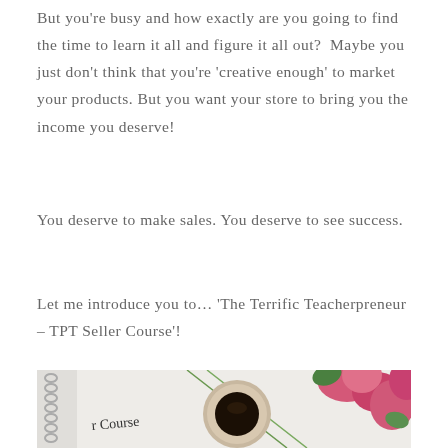But you're busy and how exactly are you going to find the time to learn it all and figure it all out?  Maybe you just don't think that you're 'creative enough' to market your products. But you want your store to bring you the income you deserve!
You deserve to make sales. You deserve to see success.
Let me introduce you to… 'The Terrific Teacherpreneur – TPT Seller Course'!
[Figure (photo): A flat-lay photo showing a notebook with cursive handwriting, a cup of black coffee, and pink flowers with green stems on a white background.]